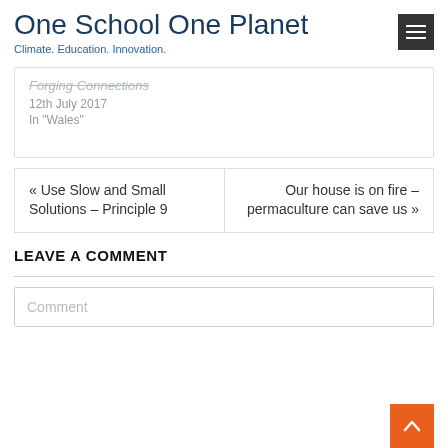One School One Planet
Climate. Education. Innovation.
Forging Connections
12th July 2017
In "Wales"
« Use Slow and Small Solutions – Principle 9
Our house is on fire – permaculture can save us »
LEAVE A COMMENT
Comment